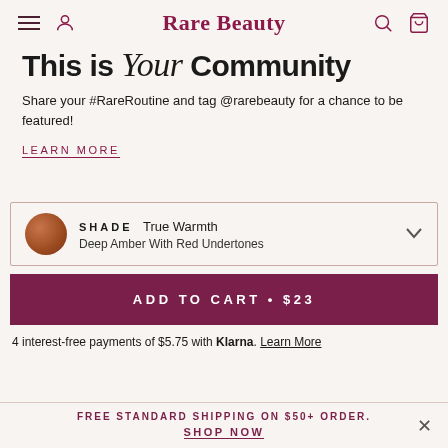Rare Beauty
This is Your Community
Share your #RareRoutine and tag @rarebeauty for a chance to be featured!
LEARN MORE
SHADE  True Warmth
Deep Amber With Red Undertones
ADD TO CART • $23
4 interest-free payments of $5.75 with Klarna. Learn More
FREE STANDARD SHIPPING ON $50+ ORDER.
SHOP NOW